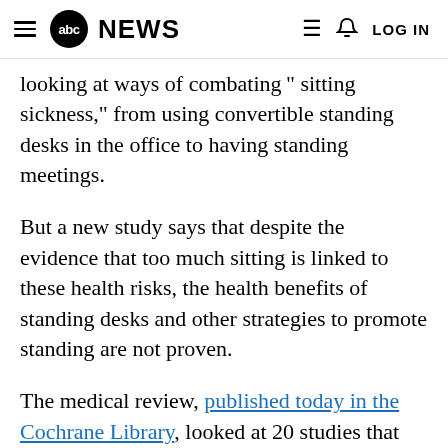abc NEWS | LOG IN
looking at ways of combating "sitting sickness," from using convertible standing desks in the office to having standing meetings.
But a new study says that despite the evidence that too much sitting is linked to these health risks, the health benefits of standing desks and other strategies to promote standing are not proven.
The medical review, published today in the Cochrane Library, looked at 20 studies that focused on various strategies to keep people on their feet rather than sitting all day. The